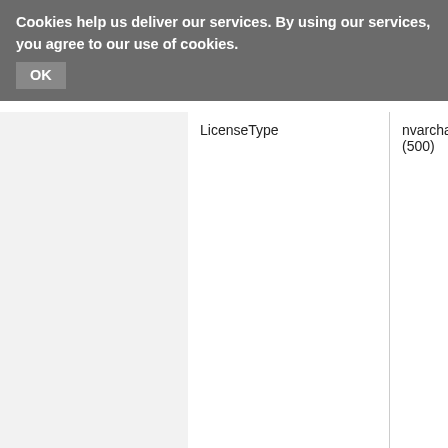Cookies help us deliver our services. By using our services, you agree to our use of cookies. OK
|  | Column Name | Data Type |
| --- | --- | --- |
|  | LicenseType | nvarchar (500) |
|  | LicenseHolder | nvarchar (500) |
|  | LicenseHolderAgentURI | varchar (500) |